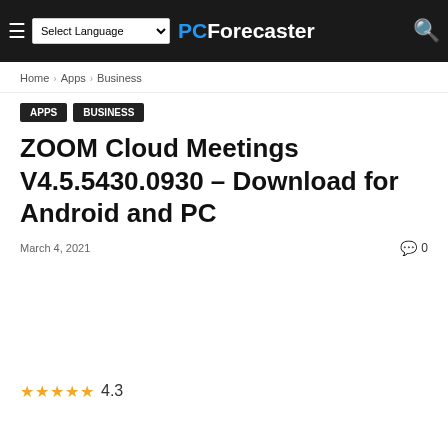PC Forecaster — Select Language
Home › Apps › Business
Apps  Business
ZOOM Cloud Meetings V4.5.5430.0930 – Download for Android and PC
March 4, 2021  💬 0
★★★★★ 4.3